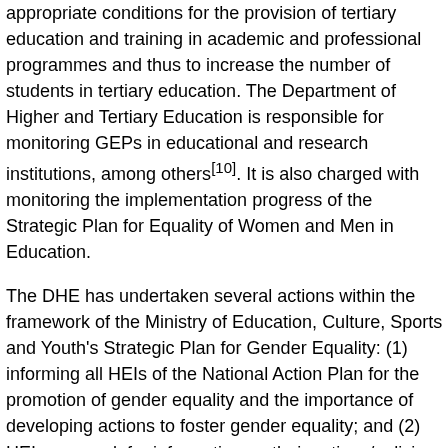appropriate conditions for the provision of tertiary education and training in academic and professional programmes and thus to increase the number of students in tertiary education. The Department of Higher and Tertiary Education is responsible for monitoring GEPs in educational and research institutions, among others[10]. It is also charged with monitoring the implementation progress of the Strategic Plan for Equality of Women and Men in Education.
The DHE has undertaken several actions within the framework of the Ministry of Education, Culture, Sports and Youth's Strategic Plan for Gender Equality: (1) informing all HEIs of the National Action Plan for the promotion of gender equality and the importance of developing actions to foster gender equality; and (2) HEIs were ask for information on their actions/policies to promote gender equality. The majority of HEIs appear to have taken relevant actions: